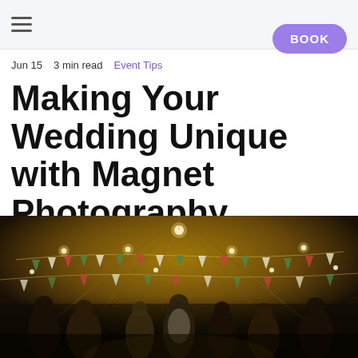☰
BOOK
Jun 15   3 min read   Event Tips
Making Your Wedding Unique with Magnet Photography
[Figure (photo): Wedding reception inside a tipi tent with fairy lights, bunting, and guests dancing]